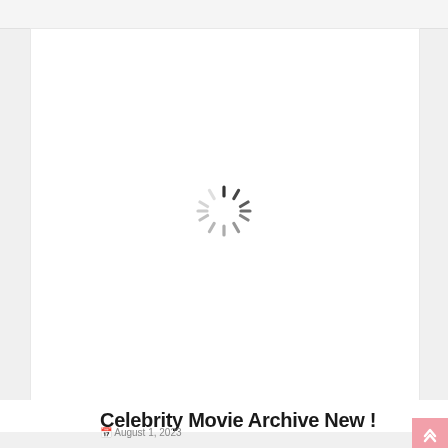[Figure (screenshot): Large white content area with a loading spinner (radial spokes) centered in it, representing a webpage image that is still loading.]
Celebrity Movie Archive New !
August 1, 2023